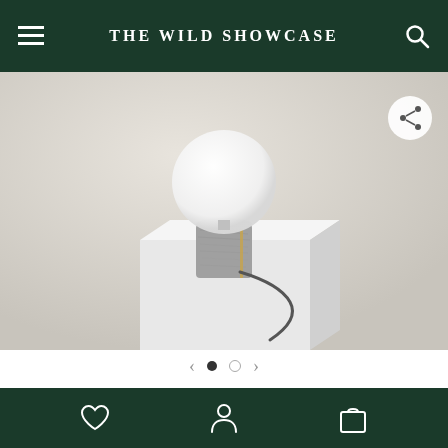THE WILD SHOWCASE
[Figure (photo): A lamp with a round white globe bulb sitting on a cylindrical grey lavastone base, placed on top of a white pedestal. The background is a light grey/beige tone. A dark cable extends from the lamp base.]
& JACOB
NOCTE LAMP LAVASTONE
Bottom navigation bar with heart, person, and shopping bag icons